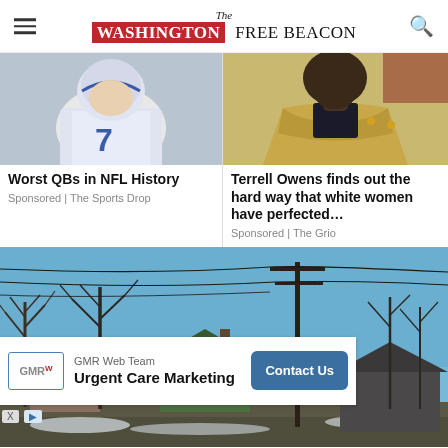The Washington Free Beacon
[Figure (photo): NFL quarterback in white jersey with number 7, Indianapolis Colts uniform]
Worst QBs in NFL History
Sponsored | The Sports Drop
[Figure (photo): Terrell Owens in gold/tan blazer, close-up photo]
Terrell Owens finds out the hard way that white women have perfected…
Sponsored | The Grio
[Figure (photo): Outdoor winter scene with bare trees, utility poles with power lines, and rundown houses against blue sky]
GMR Web Team
Urgent Care Marketing
Contact Us